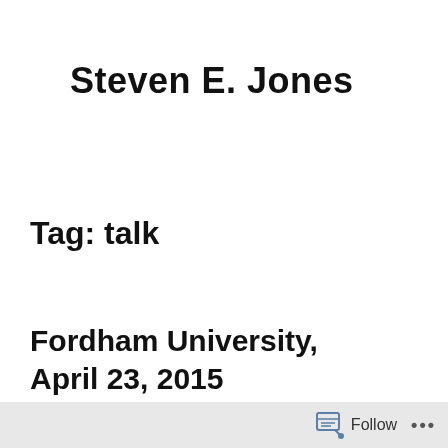Steven E. Jones
Tag: talk
Fordham University, April 23, 2015
Follow ...